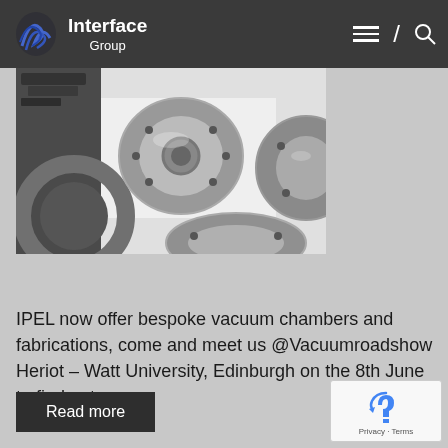Interface Group
[Figure (photo): Close-up photograph of machined metal vacuum flanges and components arranged on a white surface]
IPEL now offer bespoke vacuum chambers and fabrications, come and meet us @Vacuumroadshow Heriot – Watt University, Edinburgh on the 8th June to find out
Read more